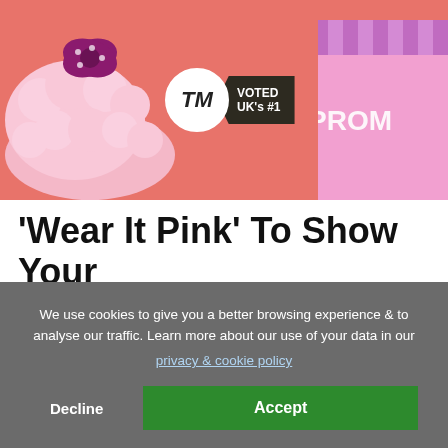[Figure (photo): Banner image with pink background showing fluffy pink slippers with polka-dot bow on the left, a pink gift box labeled 'PROM' on the right, and a 'TM VOTED UK's #1' badge in the center.]
'Wear It Pink' To Show Your Support For Breast Cancer Awareness Month
We use cookies to give you a better browsing experience & to analyse our traffic. Learn more about our use of your data in our privacy & cookie policy